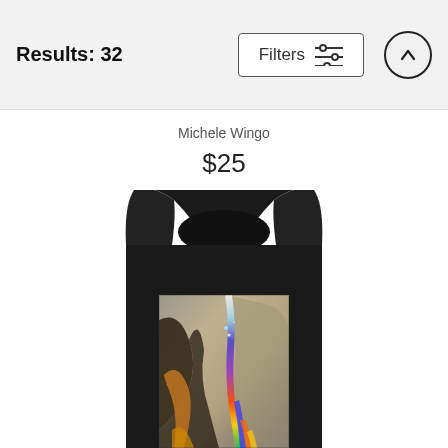Results: 32
Michele Wingo
$25
[Figure (photo): A black sleeveless tank top with a colorful iridescent oil-slick pattern print on the front, displayed on a white background.]